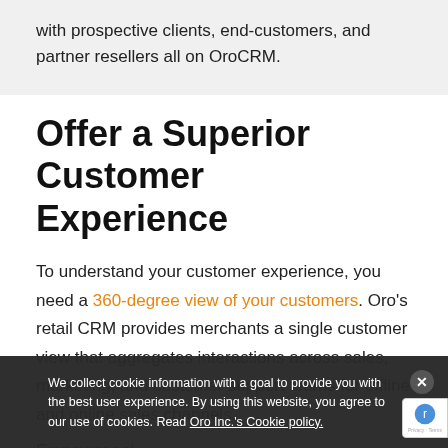with prospective clients, end-customers, and partner resellers all on OroCRM.
Offer a Superior Customer Experience
To understand your customer experience, you need a 360-degree view of your customers. Oro's retail CRM provides merchants a single customer view that aggregates interactions across sales, marketing, and customer support teams for offline and online sales channels.
Empower sales to maximise product life time values! have been used for sales prospects or enable customer
We collect cookie information with a goal to provide you with the best user experience. By using this website, you agree to our use of cookies. Read Oro Inc.'s Cookie policy.